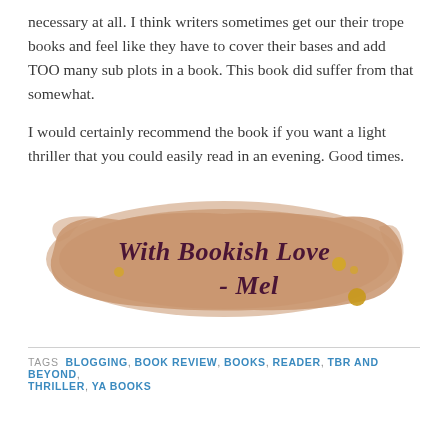necessary at all. I think writers sometimes get our their trope books and feel like they have to cover their bases and add TOO many sub plots in a book. This book did suffer from that somewhat.
I would certainly recommend the book if you want a light thriller that you could easily read in an evening. Good times.
[Figure (illustration): Decorative brush-stroke signature image reading 'With Bookish Love - Mel' in dark cursive text on a tan/brown painted brush stroke background with gold dot accents]
TAGS  BLOGGING, BOOK REVIEW, BOOKS, READER, TBR AND BEYOND, THRILLER, YA BOOKS